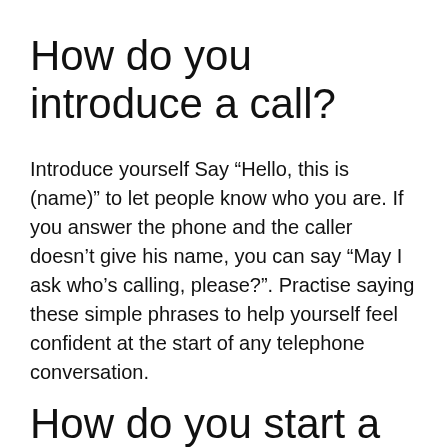How do you introduce a call?
Introduce yourself Say “Hello, this is (name)” to let people know who you are. If you answer the phone and the caller doesn’t give his name, you can say “May I ask who’s calling, please?”. Practise saying these simple phrases to help yourself feel confident at the start of any telephone conversation.
How do you start a